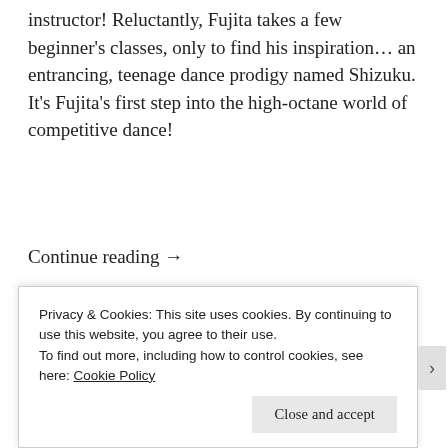instructor! Reluctantly, Fujita takes a few beginner's classes, only to find his inspiration… an entrancing, teenage dance prodigy named Shizuku. It's Fujita's first step into the high-octane world of competitive dance!
Continue reading →
Advertisements
[Figure (logo): P2 logo with dark square icon and bold P2 text, followed by bold headline 'Getting your team on the same page is easy.']
Privacy & Cookies: This site uses cookies. By continuing to use this website, you agree to their use.
To find out more, including how to control cookies, see here: Cookie Policy
Close and accept